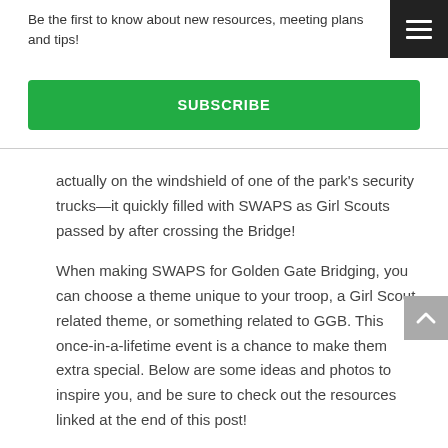Be the first to know about new resources, meeting plans and tips!
SUBSCRIBE
actually on the windshield of one of the park's security trucks—it quickly filled with SWAPS as Girl Scouts passed by after crossing the Bridge!
When making SWAPS for Golden Gate Bridging, you can choose a theme unique to your troop, a Girl Scout related theme, or something related to GGB. This once-in-a-lifetime event is a chance to make them extra special. Below are some ideas and photos to inspire you, and be sure to check out the resources linked at the end of this post!